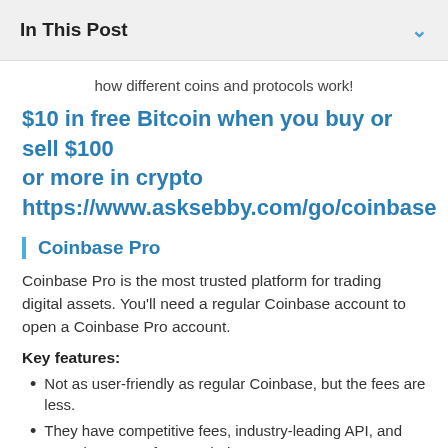In This Post
how different coins and protocols work!
$10 in free Bitcoin when you buy or sell $100 or more in crypto https://www.asksebby.com/go/coinbase
Coinbase Pro
Coinbase Pro is the most trusted platform for trading digital assets. You'll need a regular Coinbase account to open a Coinbase Pro account.
Key features:
Not as user-friendly as regular Coinbase, but the fees are less.
They have competitive fees, industry-leading API, and FDIC insurance for USD balances.